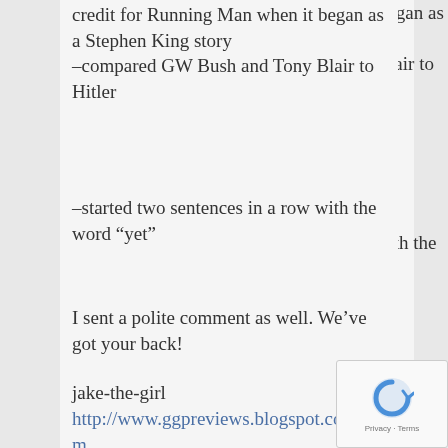–compared GW Bush and Tony Blair to Hitler
–started two sentences in a row with the word “yet”
I sent a polite comment as well. We’ve got your back!
jake-the-girl
http://www.ggpreviews.blogspot.com